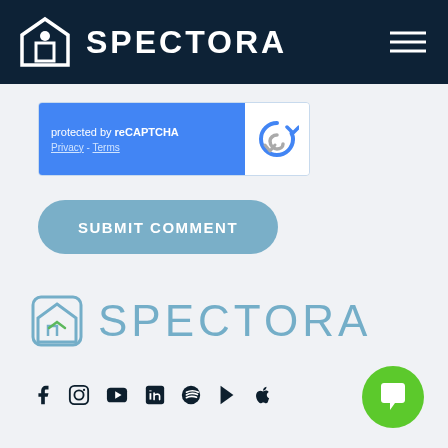[Figure (logo): Spectora logo in white on dark navy navigation bar with hamburger menu icon on right]
[Figure (screenshot): reCAPTCHA widget with blue left panel showing 'protected by reCAPTCHA' and 'Privacy - Terms', white right panel with reCAPTCHA logo]
[Figure (screenshot): Blue-gray rounded pill button labeled SUBMIT COMMENT]
[Figure (logo): Spectora footer logo in light blue with house icon in rounded square]
[Figure (infographic): Social media icons row: Facebook, Instagram, YouTube, LinkedIn, Spotify, Google Play, Apple]
Quick Links